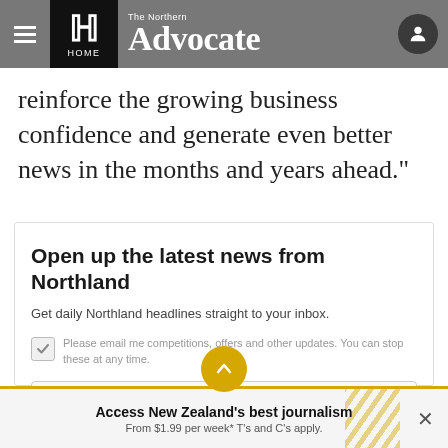The Northern Advocate — HOME
reinforce the growing business confidence and generate even better news in the months and years ahead."
Open up the latest news from Northland
Get daily Northland headlines straight to your inbox.
Please email me competitions, offers and other updates. You can stop these at any time.
Enter your email address
Access New Zealand's best journalism From $1.99 per week* T's and C's apply.